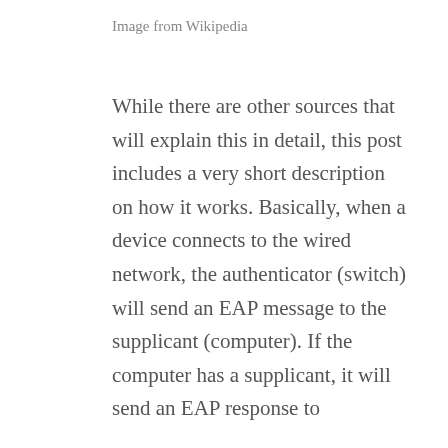Image from Wikipedia
While there are other sources that will explain this in detail, this post includes a very short description on how it works. Basically, when a device connects to the wired network, the authenticator (switch) will send an EAP message to the supplicant (computer). If the computer has a supplicant, it will send an EAP response to